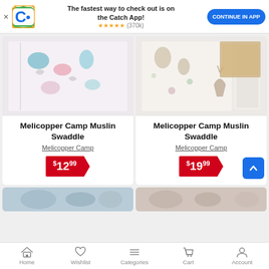[Figure (screenshot): Catch app banner with logo, text 'The fastest way to check out is on the Catch App!', star rating (370k), and 'CONTINUE IN APP' button]
[Figure (photo): Muslin swaddle product image left - white fabric with animal balloon pattern]
Melicopper Camp Muslin Swaddle
Melicopper Camp
$12.99
[Figure (photo): Muslin swaddle product image right - white fabric with woodland animals and floral pattern]
Melicopper Camp Muslin Swaddle
Melicopper Camp
$19.99
[Figure (photo): Partial product image bottom left]
[Figure (photo): Partial product image bottom right]
Home  Wishlist  Categories  Cart  Account